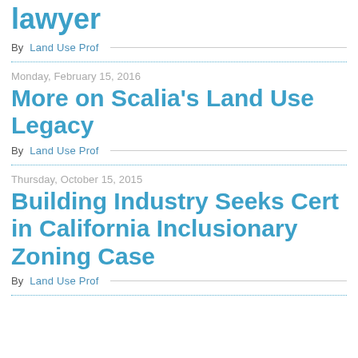lawyer
By Land Use Prof
Monday, February 15, 2016
More on Scalia's Land Use Legacy
By Land Use Prof
Thursday, October 15, 2015
Building Industry Seeks Cert in California Inclusionary Zoning Case
By Land Use Prof